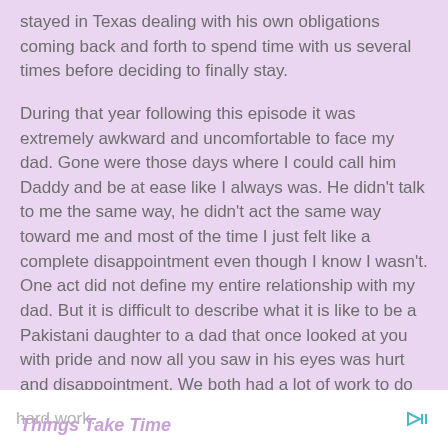stayed in Texas dealing with his own obligations coming back and forth to spend time with us several times before deciding to finally stay.
During that year following this episode it was extremely awkward and uncomfortable to face my dad. Gone were those days where I could call him Daddy and be at ease like I always was. He didn't talk to me the same way, he didn't act the same way toward me and most of the time I just felt like a complete disappointment even though I know I wasn't. One act did not define my entire relationship with my dad. But it is difficult to describe what it is like to be a Pakistani daughter to a dad that once looked at you with pride and now all you saw in his eyes was hurt and disappointment. We both had a lot of work to do to repair this relationship, but one thing I have learned from my dad is to not be afraid of doing
hard work.
Things Take Time